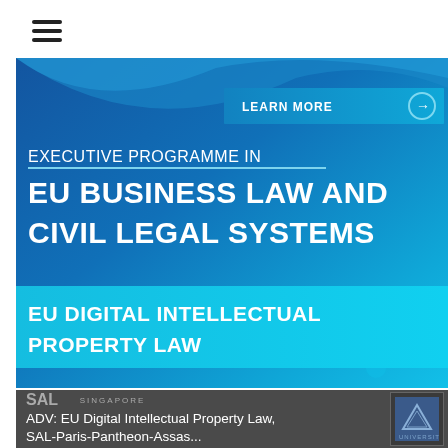[Figure (screenshot): Hamburger menu icon (three horizontal lines)]
[Figure (infographic): Banner advertisement for Executive Programme in EU Business Law and Civil Legal Systems / EU Digital Intellectual Property Law, dated 10-11 NOV 2022, with blue gradient background, LEARN MORE button with arrow, and cyan subtitle bar]
ADV: EU Digital Intellectual Property Law, SAL-Paris-Pantheon-Assas...